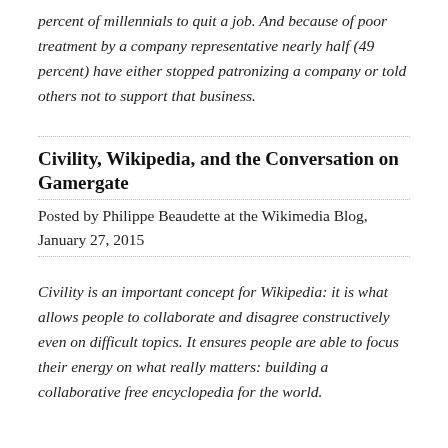percent of millennials to quit a job. And because of poor treatment by a company representative nearly half (49 percent) have either stopped patronizing a company or told others not to support that business.
Civility, Wikipedia, and the Conversation on Gamergate
Posted by Philippe Beaudette at the Wikimedia Blog, January 27, 2015
Civility is an important concept for Wikipedia: it is what allows people to collaborate and disagree constructively even on difficult topics. It ensures people are able to focus their energy on what really matters: building a collaborative free encyclopedia for the world.